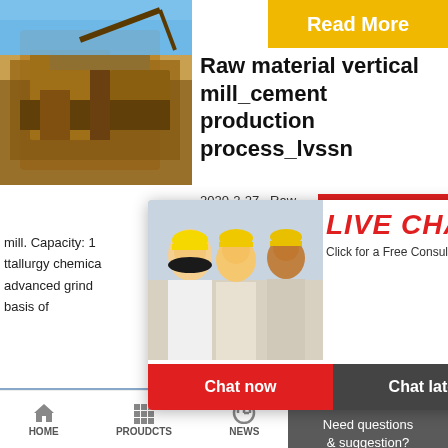[Figure (photo): Large mining/construction machine in desert environment, yellow-brown tones]
Read More
Raw material vertical mill_cement production process_lvssn
2020-2-27   Raw
24Hrs Online
mill. Capacity: 1
ttallurgy chemica
advanced grind
basis of
[Figure (photo): Live chat popup with workers in hard hats and female customer service rep with headset]
LIVE CHAT
Click for a Free Consultation
Chat now   Chat later
[Figure (photo): Female customer service representative with headset]
[Figure (photo): Crushed stone/aggregate processing equipment, blue-gray tones]
Raw Material Mill-C
Need questions & suggestion?
Chat Now
Enquiry
limingjlmofen
HOME
PROUDCTS
NEWS